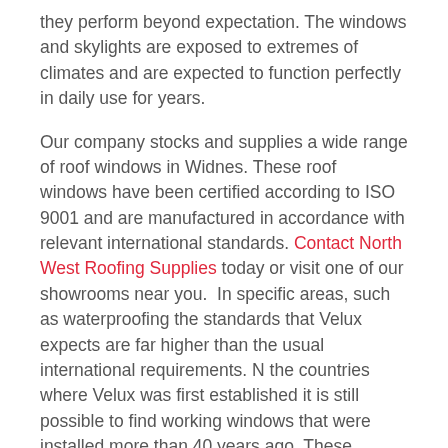they perform beyond expectation. The windows and skylights are exposed to extremes of climates and are expected to function perfectly in daily use for years.
Our company stocks and supplies a wide range of roof windows in Widnes. These roof windows have been certified according to ISO 9001 and are manufactured in accordance with relevant international standards. Contact North West Roofing Supplies today or visit one of our showrooms near you. In specific areas, such as waterproofing the standards that Velux expects are far higher than the usual international requirements. N the countries where Velux was first established it is still possible to find working windows that were installed more than 40 years ago. These exceptionally high quality skylights and roof windows will increase the value of your home and add natural lighting and character to any house.